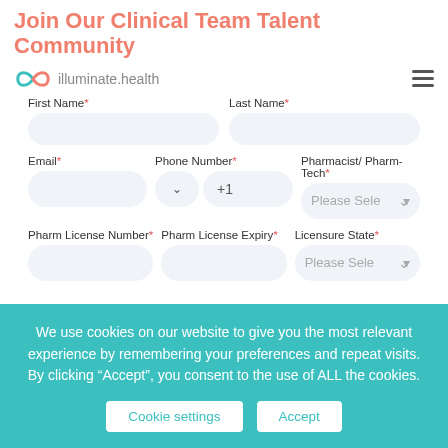Join Our Clinical Team Talent Community
[Figure (logo): illuminate.health logo with infinity/ribbon icon]
First Name*
Last Name*
Email*
Phone Number*
Pharmacist/ Pharm-Tech*
Pharm License Number*
Pharm License Expiry*
Licensure State*
We use cookies on our website to give you the most relevant experience by remembering your preferences and repeat visits. By clicking “Accept”, you consent to the use of ALL the cookies.